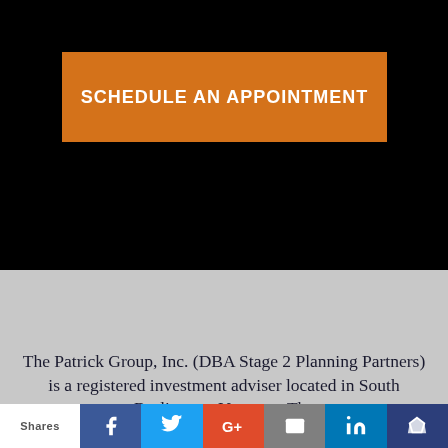SCHEDULE AN APPOINTMENT
The Patrick Group, Inc. (DBA Stage 2 Planning Partners) is a registered investment adviser located in South Burlington, Vermont. The
Shares | f | t | G+ | email | in | crown